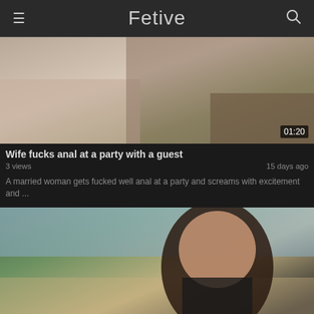Fetive
[Figure (screenshot): Video thumbnail showing close-up of persons with duration badge 01:20]
Wife fucks anal at a party with a guest
3 views   15 days ago
A married woman gets fucked well anal at a party and screams with excitement and ...
[Figure (screenshot): Video thumbnail showing a young woman with long dark hair in a park setting, HD badge, duration 07:11]
Romanian curve tries anal in the street
2 views   18 days ago